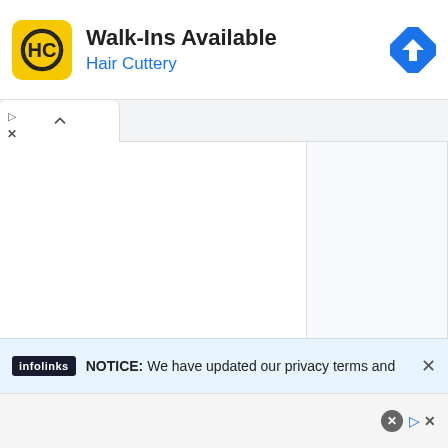[Figure (screenshot): Hair Cuttery advertisement banner with yellow HC logo, title 'Walk-Ins Available', subtitle 'Hair Cuttery', and a blue navigation/directions diamond icon on the right]
NOTICE: We have updated our privacy terms and
infolinks